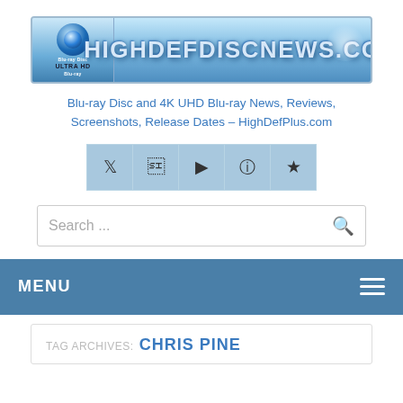[Figure (logo): HighDefDiscNews.com website logo banner with Blu-ray Disc Ultra HD branding and metallic text on blue gradient background]
Blu-ray Disc and 4K UHD Blu-ray News, Reviews, Screenshots, Release Dates – HighDefPlus.com
[Figure (infographic): Social media icon buttons row: Twitter, Facebook, YouTube, Instagram, Favorites (star) — blue/steel colored square buttons]
Search ...
MENU
TAG ARCHIVES: CHRIS PINE